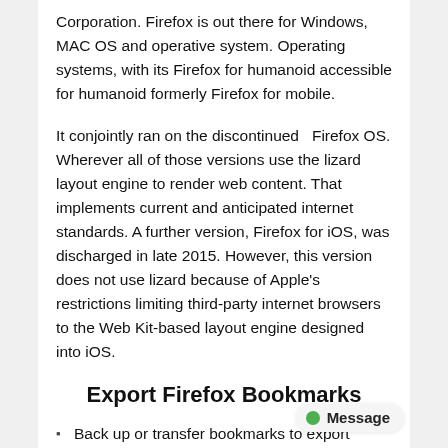Corporation. Firefox is out there for Windows, MAC OS and operative system. Operating systems, with its Firefox for humanoid accessible for humanoid formerly Firefox for mobile.
It conjointly ran on the discontinued  Firefox OS. Wherever all of those versions use the lizard layout engine to render web content. That implements current and anticipated internet standards. A further version, Firefox for iOS, was discharged in late 2015. However, this version does not use lizard because of Apple's restrictions limiting third-party internet browsers to the Web Kit-based layout engine designed into iOS.
Export Firefox Bookmarks
Back up or transfer bookmarks to export Firefox bookmarks in an HTML file.
This article explains how to export your bookmarks to